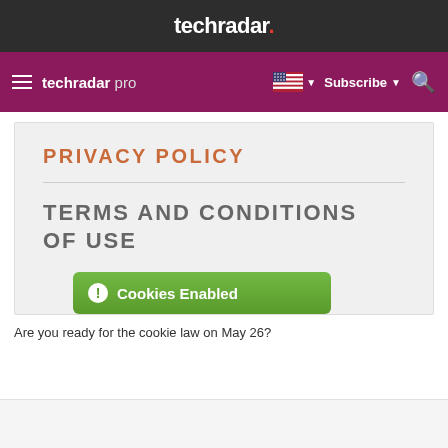techradar.
techradar pro  Subscribe
[Figure (screenshot): A screenshot showing a privacy policy page with the heading 'PRIVACY POLICY' in orange, a divider, then 'TERMS AND CONDITIONS OF USE' in gray, and a green button labeled 'Cookies Enabled' with an info icon.]
Are you ready for the cookie law on May 26?